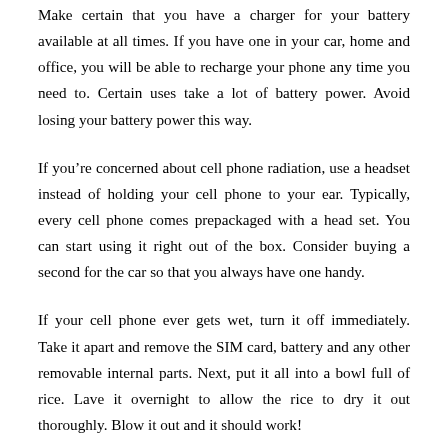Make certain that you have a charger for your battery available at all times. If you have one in your car, home and office, you will be able to recharge your phone any time you need to. Certain uses take a lot of battery power. Avoid losing your battery power this way.
If you're concerned about cell phone radiation, use a headset instead of holding your cell phone to your ear. Typically, every cell phone comes prepackaged with a head set. You can start using it right out of the box. Consider buying a second for the car so that you always have one handy.
If your cell phone ever gets wet, turn it off immediately. Take it apart and remove the SIM card, battery and any other removable internal parts. Next, put it all into a bowl full of rice. Lave it overnight to allow the rice to dry it out thoroughly. Blow it out and it should work!
Poor reception and searching for signals will deplete your cell